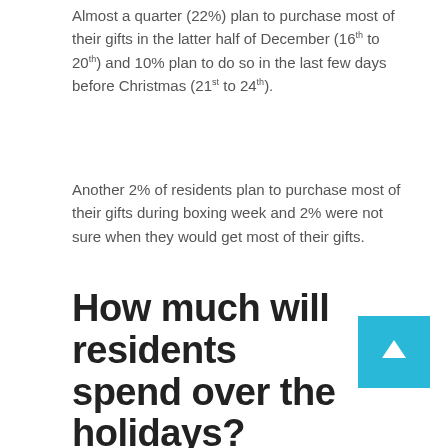Almost a quarter (22%) plan to purchase most of their gifts in the latter half of December (16th to 20th) and 10% plan to do so in the last few days before Christmas (21st to 24th).
Another 2% of residents plan to purchase most of their gifts during boxing week and 2% were not sure when they would get most of their gifts.
How much will residents spend over the holidays?